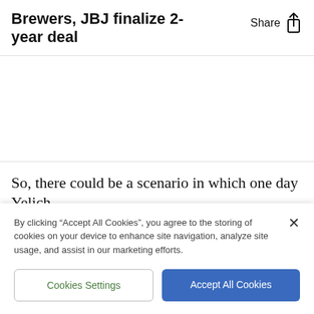Brewers, JBJ finalize 2-year deal
So, there could be a scenario in which one day Yelich, G... and R... f... a starting outfield th... most
By clicking “Accept All Cookies”, you agree to the storing of cookies on your device to enhance site navigation, analyze site usage, and assist in our marketing efforts.
Cookies Settings
Accept All Cookies